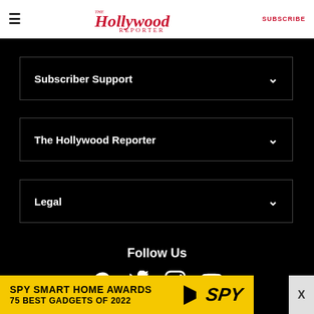The Hollywood Reporter — SUBSCRIBE
Subscriber Support
The Hollywood Reporter
Legal
Follow Us
[Figure (infographic): Social media icons: Facebook, Twitter, Instagram, YouTube]
[Figure (infographic): Advertisement banner: SPY SMART HOME AWARDS 75 BEST GADGETS OF 2022]